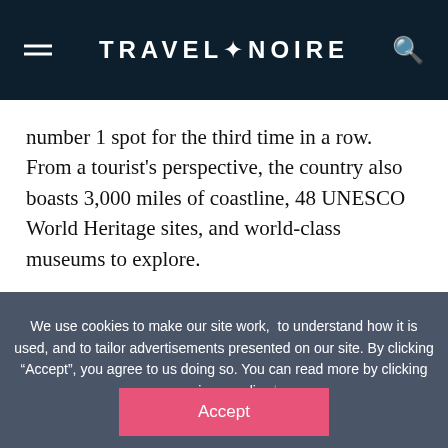TRAVEL+NOIRE
number 1 spot for the third time in a row. From a tourist's perspective, the country also boasts 3,000 miles of coastline, 48 UNESCO World Heritage sites, and world-class museums to explore.
We use cookies to make our site work, to understand how it is used, and to tailor advertisements presented on our site. By clicking “Accept”, you agree to us doing so. You can read more by clicking on our privacy policy here.
Accept